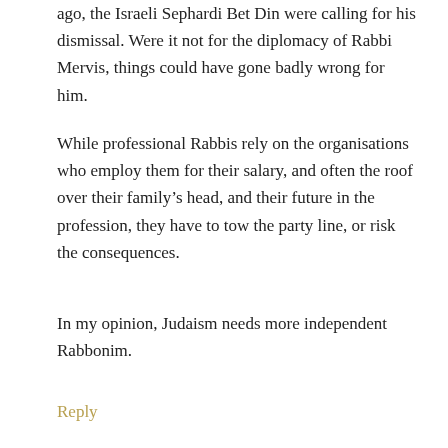ago, the Israeli Sephardi Bet Din were calling for his dismissal. Were it not for the diplomacy of Rabbi Mervis, things could have gone badly wrong for him.
While professional Rabbis rely on the organisations who employ them for their salary, and often the roof over their family's head, and their future in the profession, they have to tow the party line, or risk the consequences.
In my opinion, Judaism needs more independent Rabbonim.
Reply